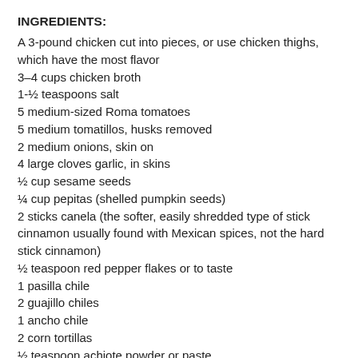INGREDIENTS:
A 3-pound chicken cut into pieces, or use chicken thighs, which have the most flavor
3–4 cups chicken broth
1-½ teaspoons salt
5 medium-sized Roma tomatoes
5 medium tomatillos, husks removed
2 medium onions, skin on
4 large cloves garlic, in skins
½ cup sesame seeds
¼ cup pepitas (shelled pumpkin seeds)
2 sticks canela (the softer, easily shredded type of stick cinnamon usually found with Mexican spices, not the hard stick cinnamon)
½ teaspoon red pepper flakes or to taste
1 pasilla chile
2 guajillo chiles
1 ancho chile
2 corn tortillas
½ teaspoon achiote powder or paste
¼ teaspoon black pepper
INSTRUCTIONS:
1. Place chicken, broth and salt in a large pot and bring slowly to a